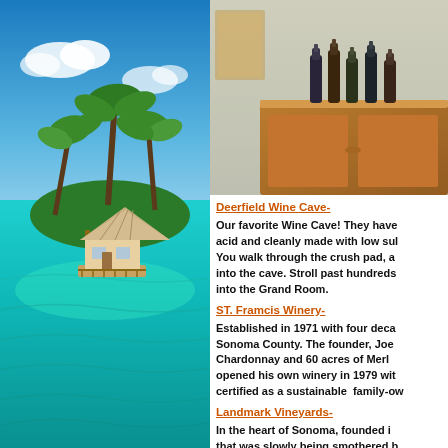[Figure (photo): Tropical overwater bungalow surrounded by palm trees over turquoise water]
[Figure (photo): Wine bottles and wooden cabinet in a wine cave setting]
Deerfield Wine Cave-
Our favorite Wine Cave! They have wines that are low acid and cleanly made with low sulfites. You walk through the crush pad, and down into the cave. Stroll past hundreds into the Grand Room.
ST. Framcis Winery-
Established in 1971 with four decades in Sonoma County. The founder, Joe Martin planted Chardonnay and 60 acres of Merlot, then opened his own winery in 1979 with certified as a sustainable family-owned...
Landmark Vineyards-
In the heart of Sonoma, founded in... that was slowly being smothered by...